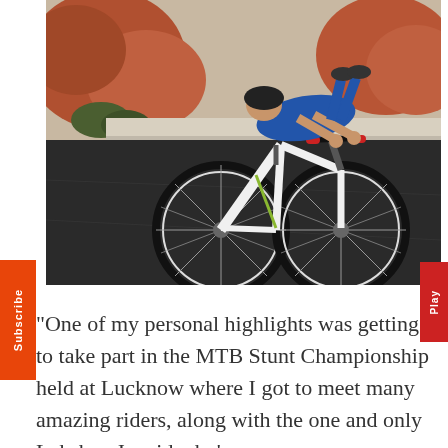[Figure (photo): A cyclist performing a stunt on a mountain bike on a dark asphalt road, leaning forward over the handlebars with body nearly horizontal. The rider wears a blue shirt. The background shows red-brown rocky terrain and a light gray concrete curb. The bicycle is white with black and green accents.]
“One of my personal highlights was getting to take part in the MTB Stunt Championship held at Lucknow where I got to meet many amazing riders, along with the one and only Lakshay Jangid who’s